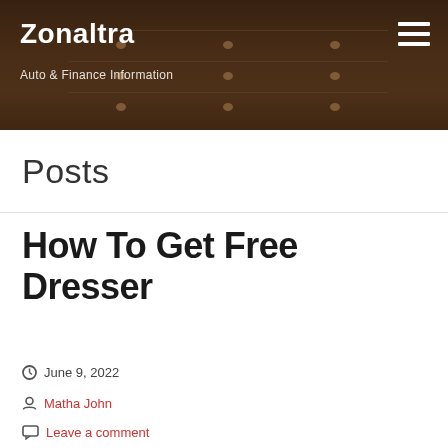Zonaltra — Auto & Finance Information
Posts
How To Get Free Dresser
June 9, 2022
Matha John
Leave a comment